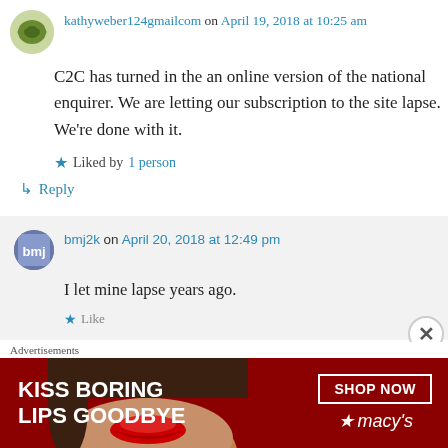kathyweber124gmailcom on April 19, 2018 at 10:25 am
C2C has turned in the an online version of the national enquirer. We are letting our subscription to the site lapse. We’re done with it.
Liked by 1 person
Reply
bmj2k on April 20, 2018 at 12:49 pm
I let mine lapse years ago.
Advertisements
[Figure (illustration): Macy's advertisement banner: dark red background, text 'KISS BORING LIPS GOODBYE', SHOP NOW button, Macy's star logo]